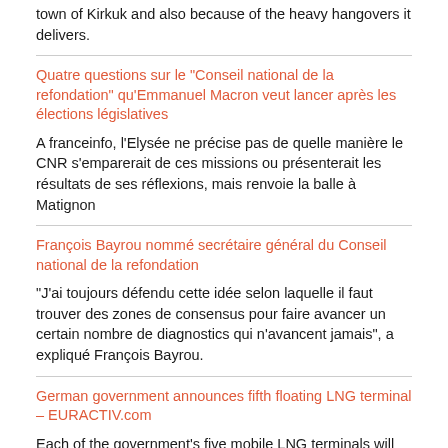town of Kirkuk and also because of the heavy hangovers it delivers.
Quatre questions sur le "Conseil national de la refondation" qu'Emmanuel Macron veut lancer après les élections législatives
A franceinfo, l'Elysée ne précise pas de quelle manière le CNR s'emparerait de ces missions ou présenterait les résultats de ses réflexions, mais renvoie la balle à Matignon
François Bayrou nommé secrétaire général du Conseil national de la refondation
"J'ai toujours défendu cette idée selon laquelle il faut trouver des zones de consensus pour faire avancer un certain nombre de diagnostics qui n'avancent jamais", a expliqué François Bayrou.
German government announces fifth floating LNG terminal – EURACTIV.com
Each of the government's five mobile LNG terminals will be able to provide a minimum of 5 billion cubic meters (bcm) of gas per year, although some may be able to regasify around 8 bcm. Imports from Russia were historically around 50 bcm per year. The first two, at 5 bcm minimum capacity each, will [...]